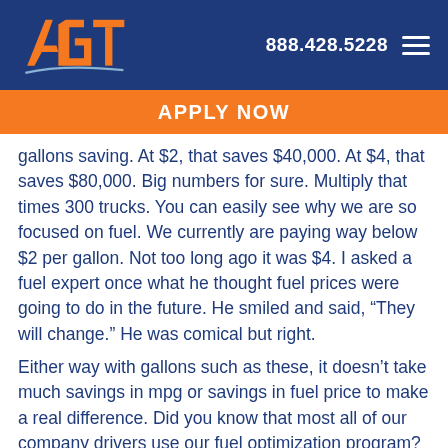AGT logo | 888.428.5228
APPLY NOW
gallons saving.  At $2, that saves $40,000.  At $4, that saves $80,000.  Big numbers for sure.  Multiply that times 300 trucks.  You can easily see why we are so focused on fuel.  We currently are paying way below $2 per gallon.  Not too long ago it was $4.  I asked a fuel expert once what he thought fuel prices were going to do in the future.  He smiled and said, “They will change.”  He was comical but right.
Either way with gallons such as these, it doesn’t take much savings in mpg or savings in fuel price to make a real difference.  Did you know that most all of our company drivers use our fuel optimization program?  Did you know that only 30% of our contractors do?  Our cost of fuel for company drivers at the pump is